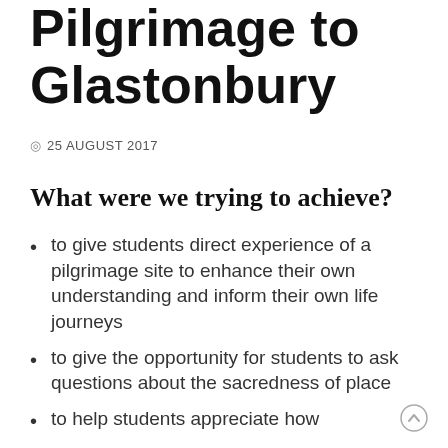Pilgrimage to Glastonbury
25 AUGUST 2017
What were we trying to achieve?
to give students direct experience of a pilgrimage site to enhance their own understanding and inform their own life journeys
to give the opportunity for students to ask questions about the sacredness of place
to help students appreciate how